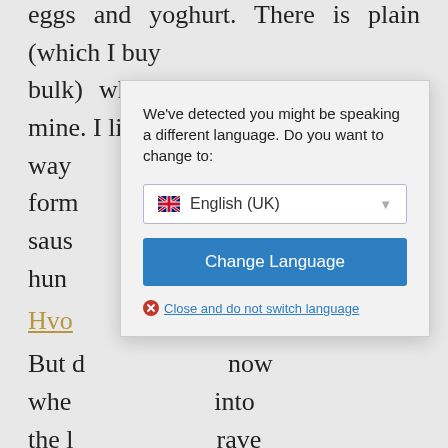eggs and yoghurt. There is plain (which I buy bulk) which is a big favourite of mine. I like the way the form and saus ting hun
Hvo
But d now whe into the l rave is us high in carbohydrates. So it's not the food we choose, it's what we put in our mouths. Obviously, the balance between foods and drinks we consume is crucial to the success of any weight loss
[Figure (screenshot): A modal dialog box overlaying the background text. The dialog reads: 'We've detected you might be speaking a different language. Do you want to change to:' with a dropdown showing a UK flag and 'English (UK)', a blue 'Change Language' button, and a 'Close and do not switch language' link with a red X icon.]